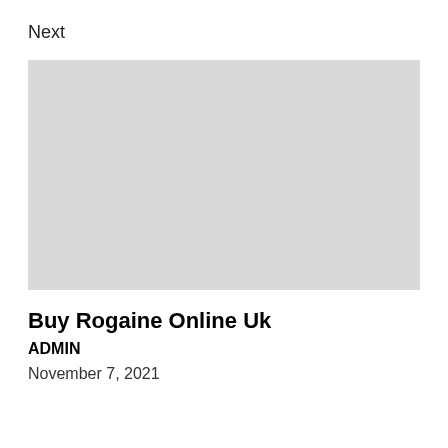Next
[Figure (photo): Gray placeholder image block]
Buy Rogaine Online Uk
ADMIN
November 7, 2021